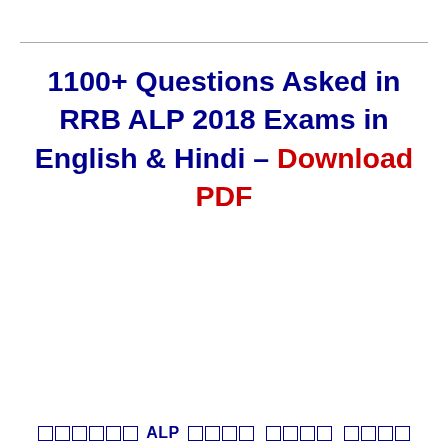1100+ Questions Asked in RRB ALP 2018 Exams in English & Hindi – Download PDF
रेलवे ALP परीक्षा में पूछे गए प्रश्न